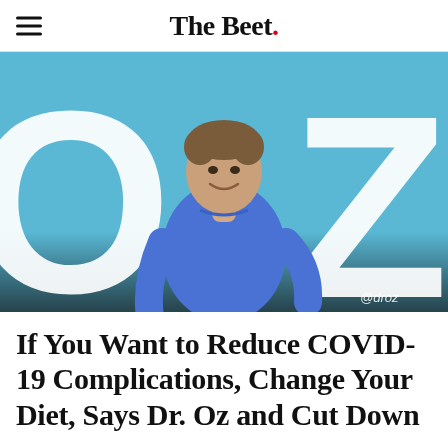The Beet.
[Figure (photo): Dr. Oz in a blue t-shirt, posing with hands on hips against a light blue background with large white letters 'OZ'. Photo credit @droz in bottom right corner.]
If You Want to Reduce COVID-19 Complications, Change Your Diet, Says Dr. Oz and Cut Down